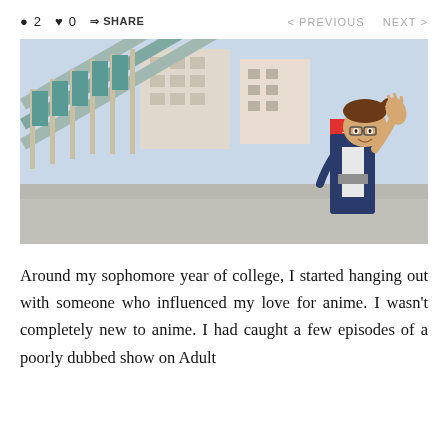● 2 ♥ 0 ⇒ SHARE < PREVIOUS NEXT >
[Figure (illustration): Anime screenshot showing a male character with brown hair and glasses, wearing a navy blazer over a white shirt, raising his hand in a surprised or defensive gesture. He stands on what appears to be a city street with a staircase/overpass structure with teal railings in the background, and urban buildings visible.]
Around my sophomore year of college, I started hanging out with someone who influenced my love for anime. I wasn't completely new to anime. I had caught a few episodes of a poorly dubbed show on Adult